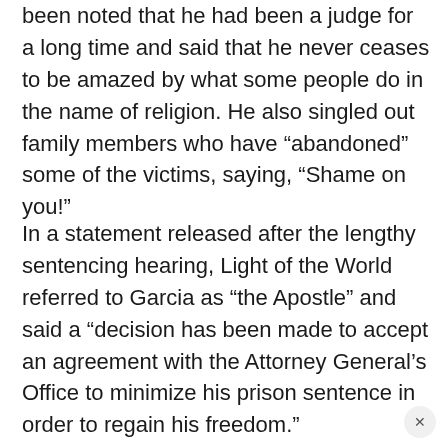been noted that he had been a judge for a long time and said that he never ceases to be amazed by what some people do in the name of religion. He also singled out family members who have “abandoned” some of the victims, saying, “Shame on you!”
In a statement released after the lengthy sentencing hearing, Light of the World referred to Garcia as “the Apostle” and said a “decision has been made to accept an agreement with the Attorney General’s Office to minimize his prison sentence in order to regain his freedom.”